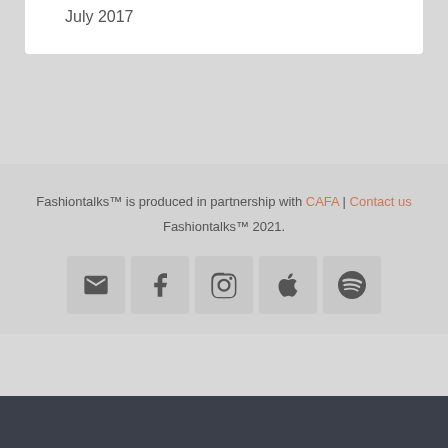July 2017
Fashiontalks™ is produced in partnership with CAFA | Contact us Fashiontalks™ 2021.